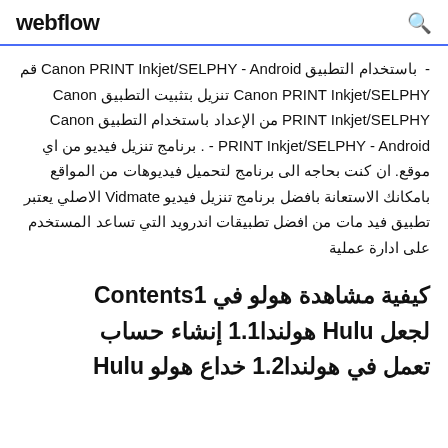webflow
- باستخدام التطبيق Canon PRINT Inkjet/SELPHY - Android قم Canon PRINT Inkjet/SELPHY تنزيل بتثبيت التطبيق Canon PRINT Inkjet/SELPHY من الإعداد باستخدام التطبيق Canon PRINT Inkjet/SELPHY - Android - . برنامج تنزيل فيديو من اي موقع. ان كنت بحاجه الى برنامج لتحميل فيديوهات من المواقع بامكانك الاستعانة بافضل برنامج تنزيل فيديو Vidmate الاصلي يعتبر تطبيق فيد مات من افضل تطبيقات اندرويد التي تساعد المستخدم على ادارة عملية
كيفية مشاهدة هولو في Contents1 لجعل Hulu هولندا1.1 إنشاء حساب تعمل في هولندا1.2 خداع هولو Hulu